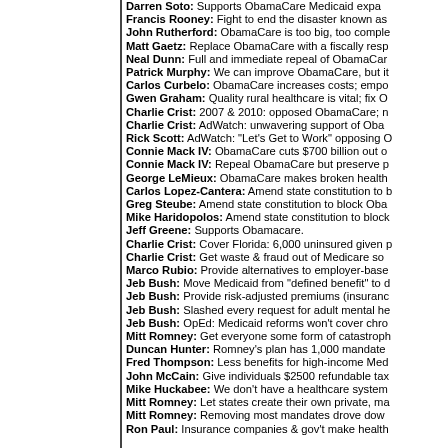Darren Soto: Supports ObamaCare Medicaid expa...
Francis Rooney: Fight to end the disaster known as...
John Rutherford: ObamaCare is too big, too comple...
Matt Gaetz: Replace ObamaCare with a fiscally resp...
Neal Dunn: Full and immediate repeal of ObamaCar...
Patrick Murphy: We can improve ObamaCare, but it...
Carlos Curbelo: ObamaCare increases costs; empo...
Gwen Graham: Quality rural healthcare is vital; fix O...
Charlie Crist: 2007 & 2010: opposed ObamaCare; n...
Charlie Crist: AdWatch: unwavering support of Oba...
Rick Scott: AdWatch: "Let's Get to Work" opposing O...
Connie Mack IV: ObamaCare cuts $700 billion out o...
Connie Mack IV: Repeal ObamaCare but preserve p...
George LeMieux: ObamaCare makes broken health...
Carlos Lopez-Cantera: Amend state constitution to b...
Greg Steube: Amend state constitution to block Oba...
Mike Haridopolos: Amend state constitution to block...
Jeff Greene: Supports Obamacare.
Charlie Crist: Cover Florida: 6,000 uninsured given p...
Charlie Crist: Get waste & fraud out of Medicare so...
Marco Rubio: Provide alternatives to employer-base...
Jeb Bush: Move Medicaid from "defined benefit" to d...
Jeb Bush: Provide risk-adjusted premiums (insuranc...
Jeb Bush: Slashed every request for adult mental he...
Jeb Bush: OpEd: Medicaid reforms won't cover chro...
Mitt Romney: Get everyone some form of catastroph...
Duncan Hunter: Romney's plan has 1,000 mandate...
Fred Thompson: Less benefits for high-income Med...
John McCain: Give individuals $2500 refundable tax...
Mike Huckabee: We don't have a healthcare system...
Mitt Romney: Let states create their own private, ma...
Mitt Romney: Removing most mandates drove dow...
Ron Paul: Insurance companies & gov't make health...